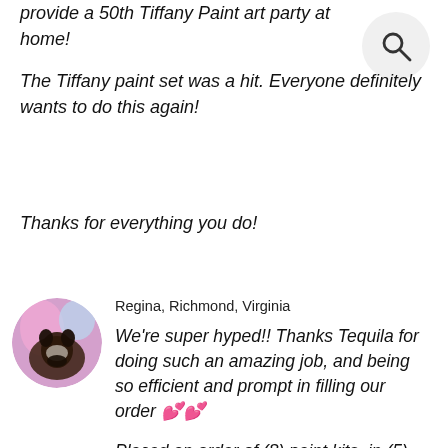provide a 50th Tiffany Paint art party at home!
The Tiffany paint set was a hit. Everyone definitely wants to do this again!
Thanks for everything you do!
[Figure (illustration): Circular search icon with magnifying glass symbol on light gray background]
[Figure (photo): Circular profile photo of a woman standing in front of pink and blue decorations]
Regina, Richmond, Virginia
We're super hyped!! Thanks Tequila for doing such an amazing job, and being so efficient and prompt in filling our order 💕💕
Placed an order of (8) paint kits, in (5) different sketches...and she had